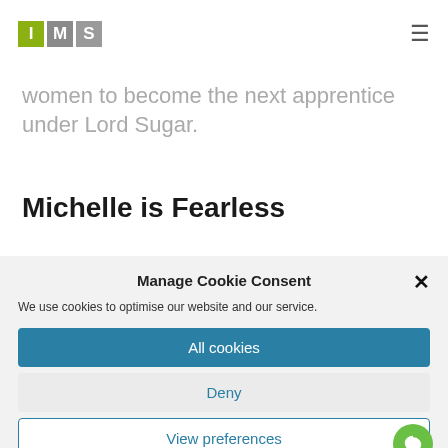IMS logo and navigation hamburger menu
women to become the next apprentice under Lord Sugar.
Michelle is Fearless
Manage Cookie Consent
We use cookies to optimise our website and our service.
All cookies
Deny
View preferences